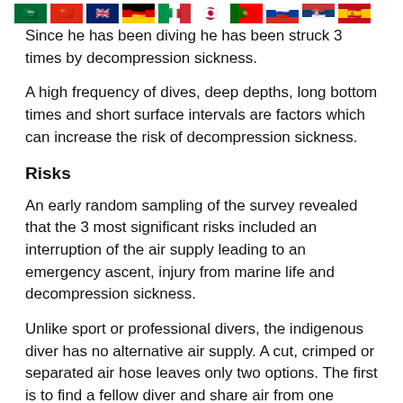[Figure (other): Row of country flags: Saudi Arabia, China, UK, Germany, Italy, Japan, Portugal, Russia, Serbia, Spain, Kenya]
Since he has been diving he has been struck 3 times by decompression sickness.
A high frequency of dives, deep depths, long bottom times and short surface intervals are factors which can increase the risk of decompression sickness.
Risks
An early random sampling of the survey revealed that the 3 most significant risks included an interruption of the air supply leading to an emergency ascent, injury from marine life and decompression sickness.
Unlike sport or professional divers, the indigenous diver has no alternative air supply. A cut, crimped or separated air hose leaves only two options. The first is to find a fellow diver and share air from one mask, a skill which is virtually unknown to the Sea Gypsies; the second is an emergency swim to the surface, which can and frequently does lead to barotrauma